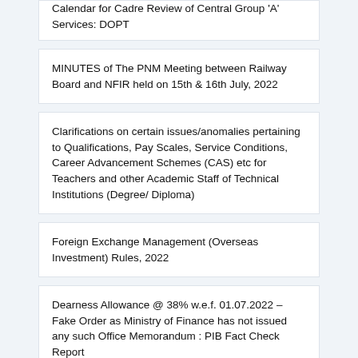Calendar for Cadre Review of Central Group 'A' Services: DOPT
MINUTES of The PNM Meeting between Railway Board and NFIR held on 15th & 16th July, 2022
Clarifications on certain issues/anomalies pertaining to Qualifications, Pay Scales, Service Conditions, Career Advancement Schemes (CAS) etc for Teachers and other Academic Staff of Technical Institutions (Degree/ Diploma)
Foreign Exchange Management (Overseas Investment) Rules, 2022
Dearness Allowance @ 38% w.e.f. 01.07.2022 – Fake Order as Ministry of Finance has not issued any such Office Memorandum : PIB Fact Check Report
Participation of Railway officers in Disha meetings – Railway Board